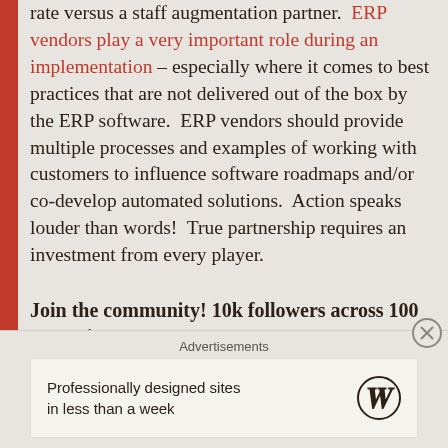rate versus a staff augmentation partner. ERP vendors play a very important role during an implementation – especially where it comes to best practices that are not delivered out of the box by the ERP software. ERP vendors should provide multiple processes and examples of working with customers to influence software roadmaps and/or co-develop automated solutions. Action speaks louder than words! True partnership requires an investment from every player.
Join the community! 10k followers across 100 countries!
Advertisements
Professionally designed sites in less than a week